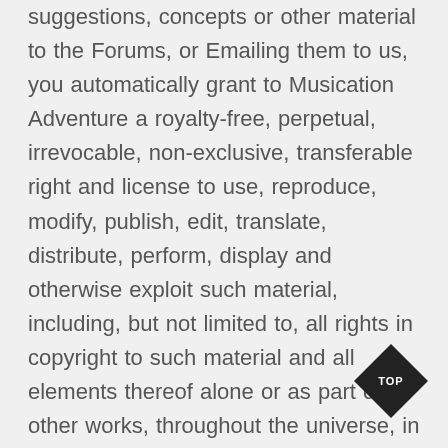suggestions, concepts or other material to the Forums, or Emailing them to us, you automatically grant to Musication Adventure a royalty-free, perpetual, irrevocable, non-exclusive, transferable right and license to use, reproduce, modify, publish, edit, translate, distribute, perform, display and otherwise exploit such material, including, but not limited to, all rights in copyright to such material and all elements thereof alone or as part of other works, throughout the universe, in any form, media, or technology, whether now known or hereafter devised, and to sublicense such rights through multiple tiers of sublicenses, all without any obligation to you, whether by way of compensation, attribution or otherwise. You represent, warrant, and guarantee that (a) you have the full unrestricted right to grant such rights to your post